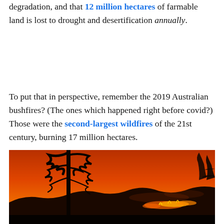degradation, and that 12 million hectares of farmable land is lost to drought and desertification annually.
To put that in perspective, remember the 2019 Australian bushfires? (The ones which happened right before covid?) Those were the second-largest wildfires of the 21st century, burning 17 million hectares.
[Figure (photo): Night photograph of a bushfire with a large tree silhouetted against an intensely orange-red sky, with flames visible along a distant hillside ridge.]